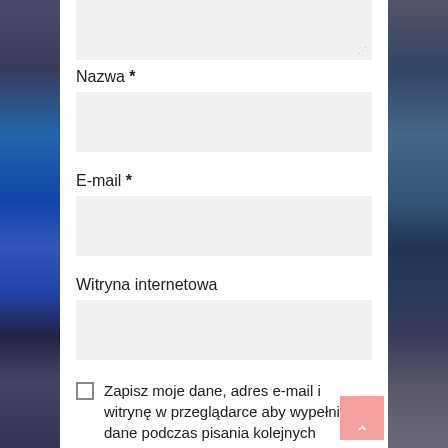[Figure (screenshot): Top portion of a comment/contact form with input fields for Nazwa (Name), E-mail, Witryna internetowa (Website), a checkbox for saving user data, and back-to-top button. Side photo strips show blurred images of computer monitors.]
Nazwa *
E-mail *
Witryna internetowa
Zapisz moje dane, adres e-mail i witrynę w przeglądarce aby wypełnić dane podczas pisania kolejnych